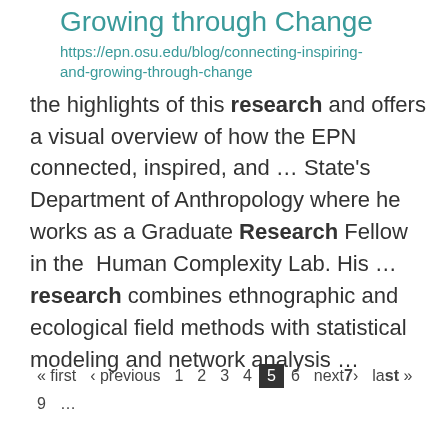Growing through Change
https://epn.osu.edu/blog/connecting-inspiring-and-growing-through-change
the highlights of this research and offers a visual overview of how the EPN connected, inspired, and ... State's Department of Anthropology where he works as a Graduate Research Fellow in the Human Complexity Lab. His ... research combines ethnographic and ecological field methods with statistical modeling and network analysis ...
« first ‹ previous 1 2 3 4 5 6 next7› last» 9 ...